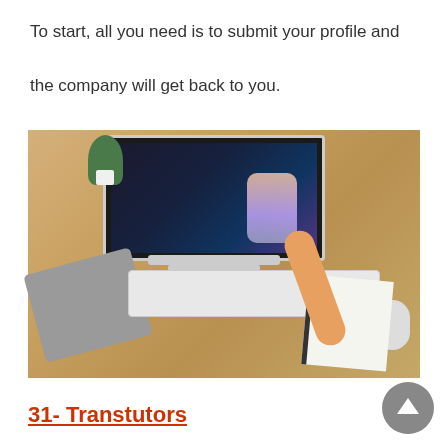To start, all you need is to submit your profile and the company will get back to you.
[Figure (photo): Aerial/top-down view of a person sitting at a wooden desk with an iMac-style monitor showing a video call, a gray laptop sleeve, a wireless keyboard, a mouse, a notebook, a plant, and various desk accessories.]
31- Transtutors